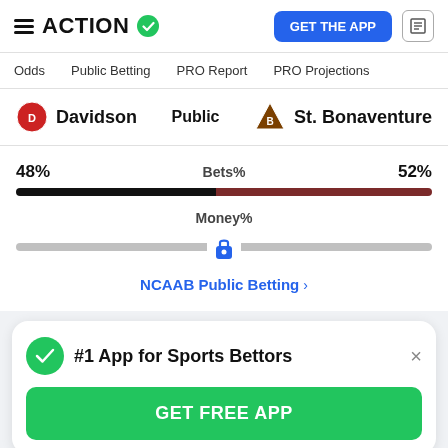ACTION — GET THE APP
Odds | Public Betting | PRO Report | PRO Projections
Davidson   Public   St. Bonaventure
[Figure (infographic): Public betting split bar chart: Davidson 48% Bets%, St. Bonaventure 52% Bets%. Black bar left 48%, dark brown bar right 52%. Money% row with lock icon. NCAAB Public Betting link.]
#1 App for Sports Bettors
GET FREE APP